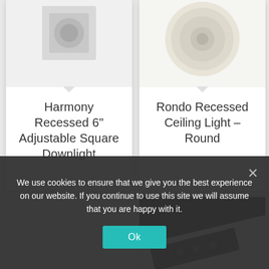[Figure (photo): Harmony Recessed 6 inch Adjustable Square Downlight product image, partial view from top]
Harmony Recessed 6” Adjustable Square Downlight
[Figure (photo): Rondo Recessed Ceiling Light Round product image, cream/beige circular fixture on white background]
Rondo Recessed Ceiling Light – Round
[Figure (photo): Recessed spotlight with three black adjustable spotlights on a black bar, mounted in white ceiling]
We use cookies to ensure that we give you the best experience on our website. If you continue to use this site we will assume that you are happy with it.